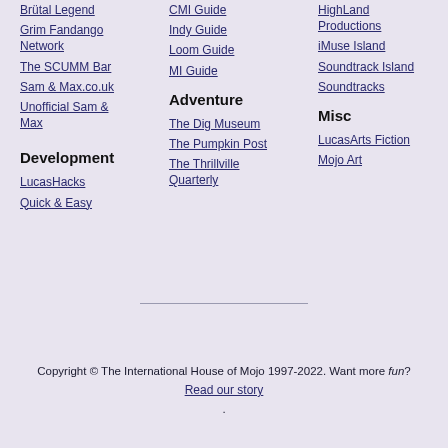Brütal Legend
Grim Fandango Network
The SCUMM Bar
Sam & Max.co.uk
Unofficial Sam & Max
Development
LucasHacks
Quick & Easy
CMI Guide
Indy Guide
Loom Guide
MI Guide
Adventure
The Dig Museum
The Pumpkin Post
The Thrillville Quarterly
HighLand Productions
iMuse Island
Soundtrack Island
Soundtracks
Misc
LucasArts Fiction
Mojo Art
Copyright © The International House of Mojo 1997-2022. Want more fun? Read our story.